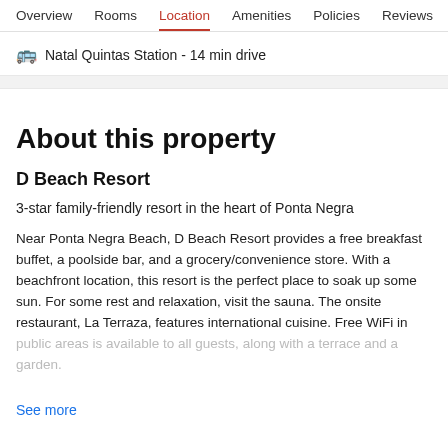Overview  Rooms  Location  Amenities  Policies  Reviews
🚌 Natal Quintas Station - 14 min drive
About this property
D Beach Resort
3-star family-friendly resort in the heart of Ponta Negra
Near Ponta Negra Beach, D Beach Resort provides a free breakfast buffet, a poolside bar, and a grocery/convenience store. With a beachfront location, this resort is the perfect place to soak up some sun. For some rest and relaxation, visit the sauna. The onsite restaurant, La Terraza, features international cuisine. Free WiFi in public areas is available to all guests, along with a terrace and a garden.
See more